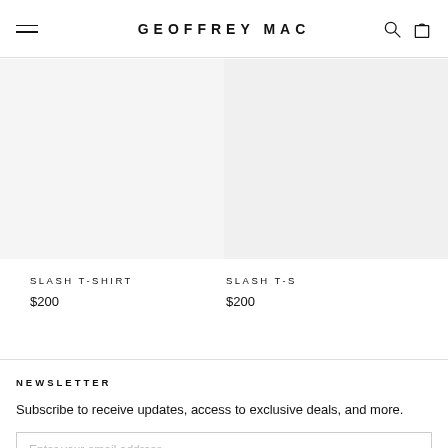GEOFFREY MAC
SLASH T-SHIRT
$200
SLASH T-S
$200
NEWSLETTER
Subscribe to receive updates, access to exclusive deals, and more.
Enter your email address